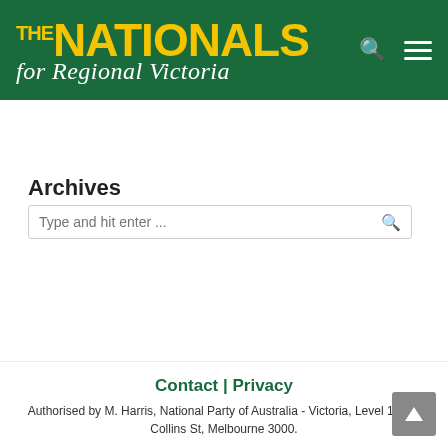[Figure (logo): The Nationals - for Regional Victoria logo on dark green background with yellow text and white italic tagline. Search and menu icons on right.]
[Figure (screenshot): Search input box with placeholder text 'Type and hit enter ...' and search icon on right]
Archives
[Figure (screenshot): Dropdown selector showing 'Select Month' with downward arrow]
Contact | Privacy
Authorised by M. Harris, National Party of Australia - Victoria, Level 13, 30 Collins St, Melbourne 3000.